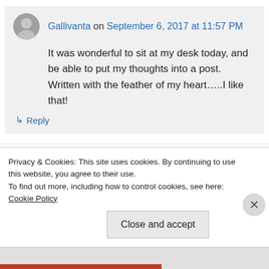Gallivanta on September 6, 2017 at 11:57 PM
It was wonderful to sit at my desk today, and be able to put my thoughts into a post. Written with the feather of my heart…..I like that!
↳ Reply
Liz on September 6, 2017 at 10:33 PM
Privacy & Cookies: This site uses cookies. By continuing to use this website, you agree to their use.
To find out more, including how to control cookies, see here: Cookie Policy
Close and accept